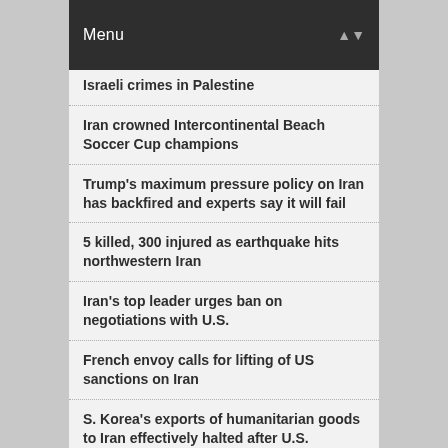Menu
Israeli crimes in Palestine
Iran crowned Intercontinental Beach Soccer Cup champions
Trump's maximum pressure policy on Iran has backfired and experts say it will fail
5 killed, 300 injured as earthquake hits northwestern Iran
Iran's top leader urges ban on negotiations with U.S.
French envoy calls for lifting of US sanctions on Iran
S. Korea's exports of humanitarian goods to Iran effectively halted after U.S. sanctions
Iran says Baghdadi's death is not end of Islamic State